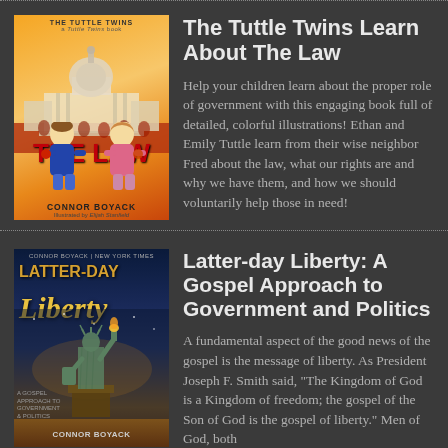[Figure (illustration): Book cover for 'The Tuttle Twins Learn About The Law' by Connor Boyack, illustrated with two children in front of a US Capitol building]
The Tuttle Twins Learn About The Law
Help your children learn about the proper role of government with this engaging book full of detailed, colorful illustrations! Ethan and Emily Tuttle learn from their wise neighbor Fred about the law, what our rights are and why we have them, and how we should voluntarily help those in need!
[Figure (illustration): Book cover for 'Latter-day Liberty: A Gospel Approach to Government and Politics' by Connor Boyack, featuring the Statue of Liberty]
Latter-day Liberty: A Gospel Approach to Government and Politics
A fundamental aspect of the good news of the gospel is the message of liberty. As President Joseph F. Smith said, "The Kingdom of God is a Kingdom of freedom; the gospel of the Son of God is the gospel of liberty." Men of God, both